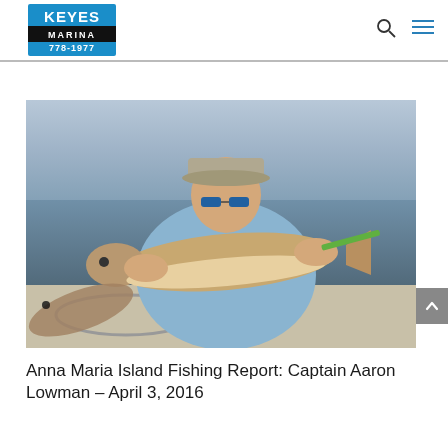Keyes Marina 778-1977
[Figure (photo): A man in a light blue long-sleeve shirt and grey baseball cap with blue sunglasses holding up a large redfish (red drum) on a boat, with open water in the background. Another fish is visible on the left side.]
Anna Maria Island Fishing Report: Captain Aaron Lowman – April 3, 2016